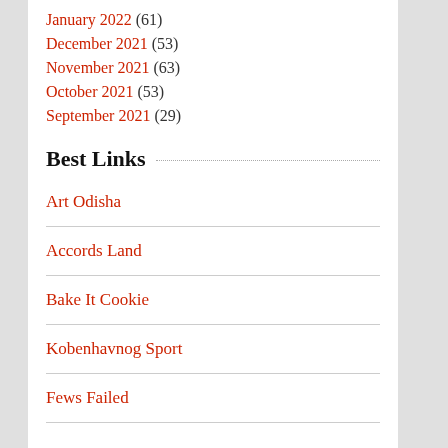January 2022 (61)
December 2021 (53)
November 2021 (63)
October 2021 (53)
September 2021 (29)
Best Links
Art Odisha
Accords Land
Bake It Cookie
Kobenhavnog Sport
Fews Failed